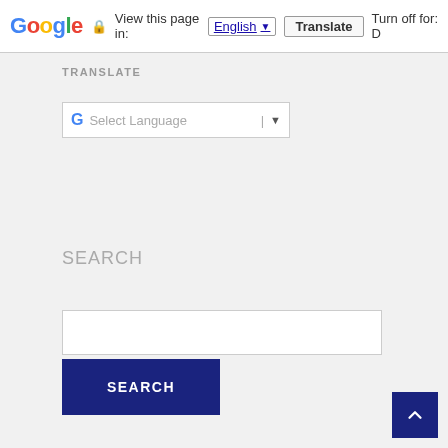[Figure (screenshot): Google Translate toolbar at the top of the page showing Google logo, lock icon, 'View this page in:' text, English language selector dropdown, Translate button, and 'Turn off for: D' text]
TRANSLATE
[Figure (other): Google Translate widget with G logo, Select Language dropdown with arrow]
SEARCH
[Figure (other): Search input text box (empty)]
[Figure (other): SEARCH button in dark navy blue]
[Figure (other): Back to top arrow button in dark navy blue at bottom right]